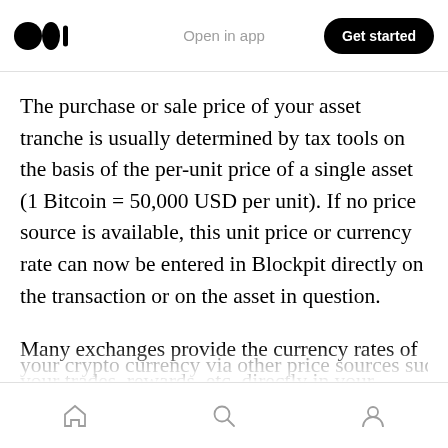Open in app | Get started
The purchase or sale price of your asset tranche is usually determined by tax tools on the basis of the per-unit price of a single asset (1 Bitcoin = 50,000 USD per unit). If no price source is available, this unit price or currency rate can now be entered in Blockpit directly on the transaction or on the asset in question.
Many exchanges provide the currency rates of your trades, rewards, etc. directly in your transaction history. If this is not the case, you may be able to look up the unit price or rate of your crypto currency via other price sources such
Home | Search | Profile